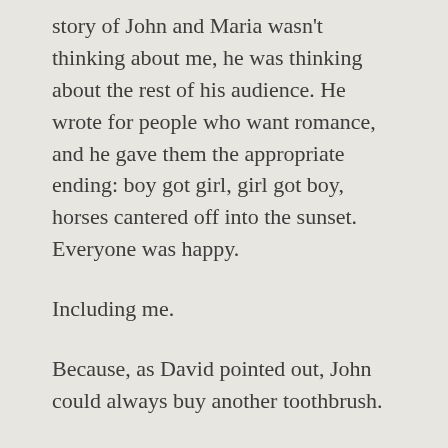story of John and Maria wasn't thinking about me, he was thinking about the rest of his audience. He wrote for people who want romance, and he gave them the appropriate ending: boy got girl, girl got boy, horses cantered off into the sunset. Everyone was happy.
Including me.
Because, as David pointed out, John could always buy another toothbrush.
Tagged Ann Patchett, Bel Canto, boy